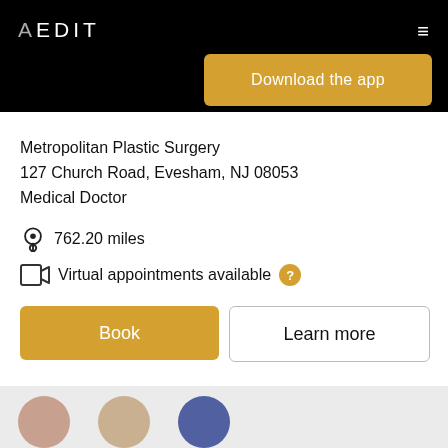AEDIT
[Figure (screenshot): Download the app button - golden/amber colored button with white text]
Metropolitan Plastic Surgery
127 Church Road, Evesham, NJ 08053
Medical Doctor
762.20 miles
Virtual appointments available
Book
Learn more